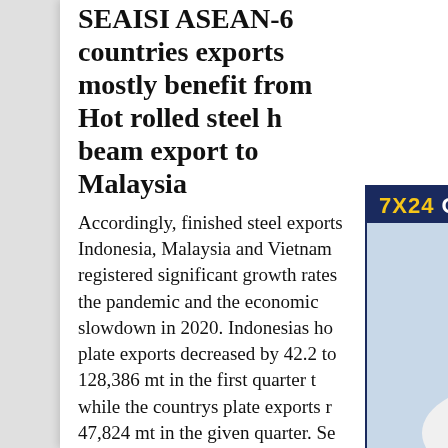SEAISI ASEAN-6 countries exports mostly benefit from Hot rolled steel h beam export to Malaysia
Accordingly, finished steel exports Indonesia, Malaysia and Vietnam registered significant growth rates the pandemic and the economic slowdown in 2020. Indonesias ho plate exports decreased by 42.2 to 128,386 mt in the first quarter t while the countrys plate exports r 47,824 mt in the given quarter. Se Edition Hot Rolled and Structural Steel Products ®300PLUS and AS/NZS 3679.1 Structural Steel Hot Rolled Bars and Sections. AS 1442 Carbon Steels and Carbon Manganese Steels Hot Rolled Bars and Semifinished Products. AS 1444
[Figure (photo): Customer service representative with headset smiling. 7X24 Online banner at top. Hello, may I help you? text and Get Latest Price button at bottom.]